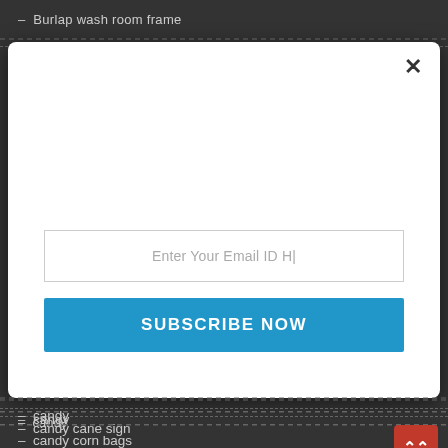- Burlap wash room frame
[Figure (screenshot): Modal dialog with email subscription form. Contains a close (×) button, an email input field with placeholder text 'Enter Your Email ID H|', and a blue 'SUBSCRIBE NOW' button.]
- candy
- candy cane sign
- candy corn bags